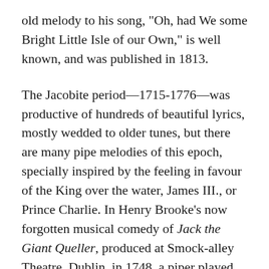old melody to his song, "Oh, had We some Bright Little Isle of our Own," is well known, and was published in 1813.
The Jacobite period—1715-1776—was productive of hundreds of beautiful lyrics, mostly wedded to older tunes, but there are many pipe melodies of this epoch, specially inspired by the feeling in favour of the King over the water, James III., or Prince Charlie. In Henry Brooke's now forgotten musical comedy of Jack the Giant Queller, produced at Smock-alley Theatre, Dublin, in 1748, a piper played some Irish airs.